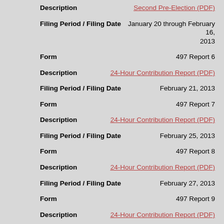Description | Second Pre-Election (PDF)
Filing Period / Filing Date | January 20 through February 16, 2013
Form | 497 Report 6
Description | 24-Hour Contribution Report (PDF)
Filing Period / Filing Date | February 21, 2013
Form | 497 Report 7
Description | 24-Hour Contribution Report (PDF)
Filing Period / Filing Date | February 25, 2013
Form | 497 Report 8
Description | 24-Hour Contribution Report (PDF)
Filing Period / Filing Date | February 27, 2013
Form | 497 Report 9
Description | 24-Hour Contribution Report (PDF)
Filing Period / Filing Date | February 28, 2013
Form | 497 Report 10